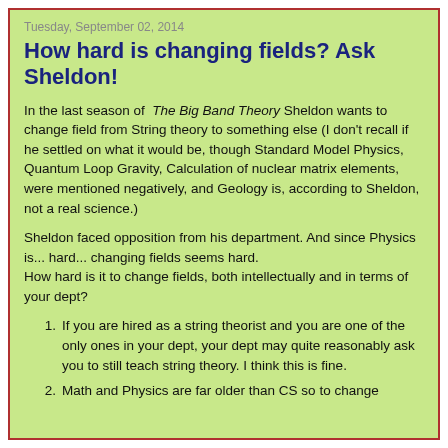Tuesday, September 02, 2014
How hard is changing fields? Ask Sheldon!
In the last season of The Big Band Theory Sheldon wants to change field from String theory to something else (I don't recall if he settled on what it would be, though Standard Model Physics, Quantum Loop Gravity, Calculation of nuclear matrix elements, were mentioned negatively, and Geology is, according to Sheldon, not a real science.)
Sheldon faced opposition from his department. And since Physics is... hard... changing fields seems hard.
How hard is it to change fields, both intellectually and in terms of your dept?
If you are hired as a string theorist and you are one of the only ones in your dept, your dept may quite reasonably ask you to still teach string theory. I think this is fine.
Math and Physics are far older than CS so to change...